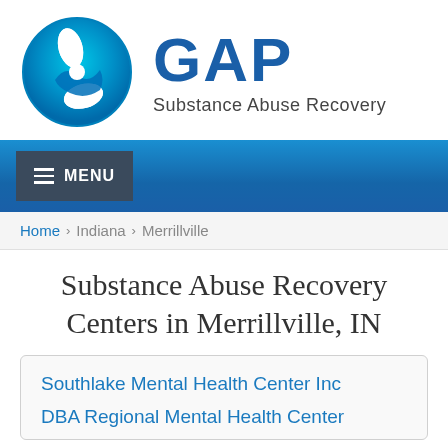[Figure (logo): GAP Substance Abuse Recovery logo — circular teal/blue icon with white cross and wave shape, next to large blue 'GAP' text and 'Substance Abuse Recovery' subtitle]
MENU
Home › Indiana › Merrillville
Substance Abuse Recovery Centers in Merrillville, IN
Southlake Mental Health Center Inc DBA Regional Mental Health Center